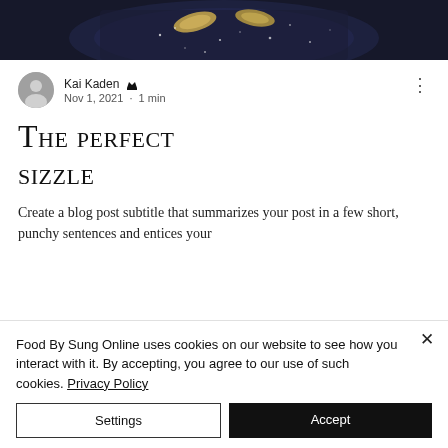[Figure (photo): Dark food photography showing a dish in a dark pan with garnishes on a dark background, partially cropped at top]
Kai Kaden 👑
Nov 1, 2021 · 1 min
The Perfect Sizzle
Create a blog post subtitle that summarizes your post in a few short, punchy sentences and entices your
Food By Sung Online uses cookies on our website to see how you interact with it. By accepting, you agree to our use of such cookies. Privacy Policy
Settings
Accept